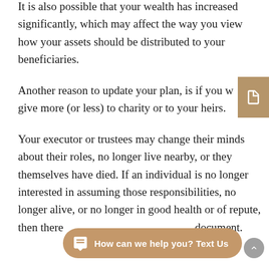It is also possible that your wealth has increased significantly, which may affect the way you view how your assets should be distributed to your beneficiaries.
Another reason to update your plan, is if you want to give more (or less) to charity or to your heirs.
Your executor or trustees may change their minds about their roles, no longer live nearby, or they themselves have died. If an individual is no longer interested in assuming those responsibilities, no longer alive, or no longer in good health or of repute, then there is a need to update your document.